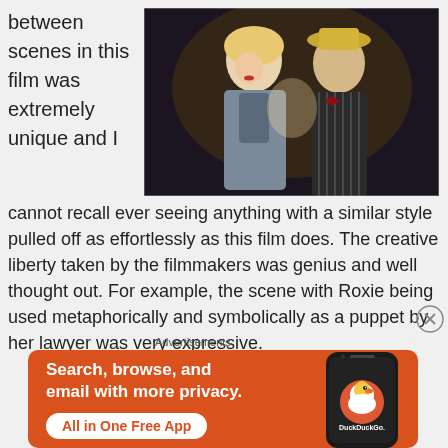between scenes in this film was extremely unique and I cannot recall ever seeing anything with a similar style pulled off as effortlessly as this film does. The creative liberty taken by the filmmakers was genius and well thought out. For example, the scene with Roxie being used metaphorically and symbolically as a puppet by her lawyer was very expressive.
[Figure (photo): Two performers in costume — a woman with blonde hair and a man wearing a hat and striped suit, posed together in what appears to be a theatrical setting.]
Advertisements
[Figure (screenshot): DuckDuckGo advertisement banner: orange background with white text reading 'Search, browse, and email with more privacy. All in One Free App' alongside a phone mockup showing the DuckDuckGo app icon and logo.]